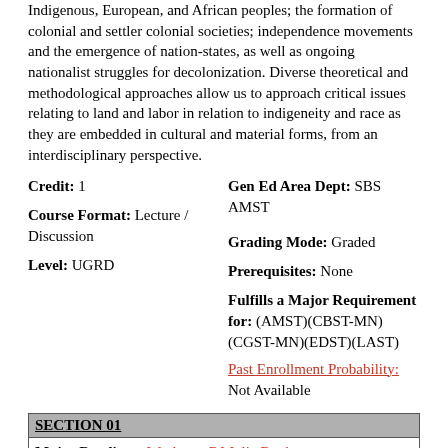Indigenous, European, and African peoples; the formation of colonial and settler colonial societies; independence movements and the emergence of nation-states, as well as ongoing nationalist struggles for decolonization. Diverse theoretical and methodological approaches allow us to approach critical issues relating to land and labor in relation to indigeneity and race as they are embedded in cultural and material forms, from an interdisciplinary perspective.
Credit: 1
Gen Ed Area Dept: SBS AMST
Course Format: Lecture / Discussion
Grading Mode: Graded
Level: UGRD
Prerequisites: None
Fulfills a Major Requirement for: (AMST)(CBST-MN)(CGST-MN)(EDST)(LAST)
Past Enrollment Probability: Not Available
SECTION 01
Major Readings: Wesleyan RJ Julia Bookstore
Lorenzo Veracini, SETTLER COLONIALISM: A THEORETICAL OVERVIEW
Jean M. O'Brien, FIRSTING AND LASTING: WRITING INDIANS OUT OF EXISTENCE IN NEW ENGLAND